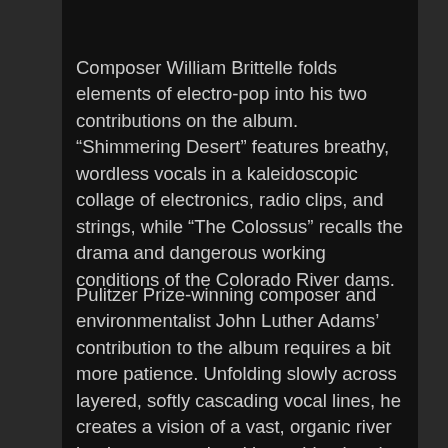Composer William Brittelle folds elements of electro-pop into his two contributions on the album. “Shimmering Desert” features breathy, wordless vocals in a kaleidoscopic collage of electronics, radio clips, and strings, while “The Colossus” recalls the drama and dangerous working conditions of the Colorado River dams.
Pulitzer Prize-winning composer and environmentalist John Luther Adams’ contribution to the album requires a bit more patience. Unfolding slowly across layered, softly cascading vocal lines, he creates a vision of a vast, organic river landscape populated by nothing but the soft sounds of nature—in this case embodied ever so delicately by human voices.
Prestini’s narrative-driven “El Corrido de Joe R.” tells a more concrete story of love and sacrifice along the river. Roomful of Teeth sings above trickling water and birds chirping as they tell one family’s story—an anecdote of the